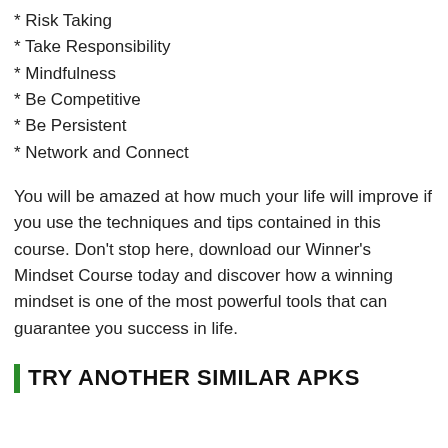* Risk Taking
* Take Responsibility
* Mindfulness
* Be Competitive
* Be Persistent
* Network and Connect
You will be amazed at how much your life will improve if you use the techniques and tips contained in this course. Don't stop here, download our Winner's Mindset Course today and discover how a winning mindset is one of the most powerful tools that can guarantee you success in life.
TRY ANOTHER SIMILAR APKS